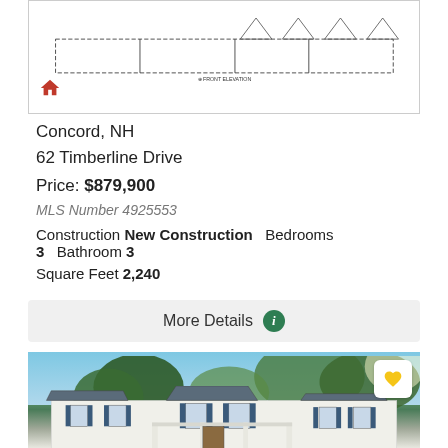[Figure (engineering-diagram): Architectural front elevation blueprint drawing of a house showing roofline, windows, and structural outline with 'Front Elevation' label at bottom]
Concord, NH
62 Timberline Drive
Price: $879,900
MLS Number 4925553
Construction New Construction  Bedrooms 3  Bathroom 3
Square Feet 2,240
More Details
[Figure (photo): Exterior photo of a large white Victorian-style house with blue shutters, multiple gables, a covered front porch, surrounded by tall trees on a sunny day]